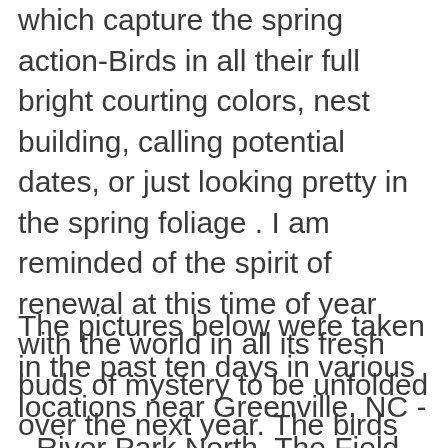which capture the spring action-Birds in all their full bright courting colors, nest building, calling potential dates, or just looking pretty in the spring foliage . I am reminded of the spirit of renewal at this time of year with the world in all its fresh buds of mystery to be unfolded over the next year. The birds represent this ancient process with an energy and beauty that is not easily seen in other critters.
The pictures below were taken in the past ten days in various locations near Greenville, NC -- River Park North, The Field, a friend's Hunt Club, Goose Creek State Park, and my backyard.